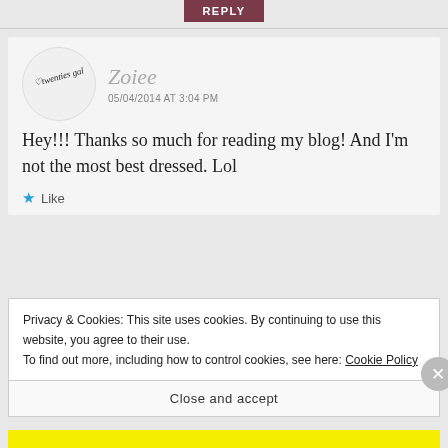REPLY
Zoiee
05/04/2014 AT 3:04 PM
Hey!!! Thanks so much for reading my blog! And I'm not the most best dressed. Lol
Like
Privacy & Cookies: This site uses cookies. By continuing to use this website, you agree to their use.
To find out more, including how to control cookies, see here: Cookie Policy
Close and accept